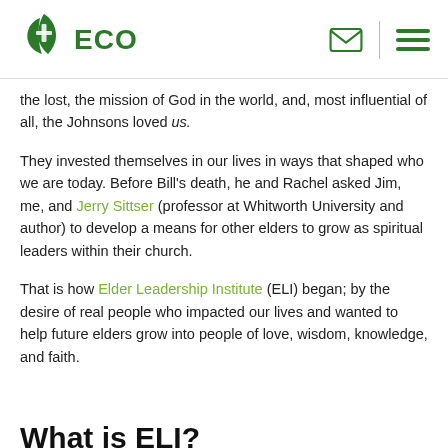ECO (logo with envelope and hamburger menu icons)
the lost, the mission of God in the world, and, most influential of all, the Johnsons loved us.
They invested themselves in our lives in ways that shaped who we are today. Before Bill's death, he and Rachel asked Jim, me, and Jerry Sittser (professor at Whitworth University and author) to develop a means for other elders to grow as spiritual leaders within their church.
That is how Elder Leadership Institute (ELI) began; by the desire of real people who impacted our lives and wanted to help future elders grow into people of love, wisdom, knowledge, and faith.
What is ELI?
ELI is...